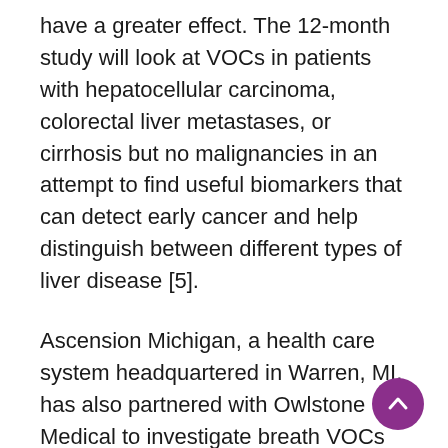have a greater effect. The 12-month study will look at VOCs in patients with hepatocellular carcinoma, colorectal liver metastases, or cirrhosis but no malignancies in an attempt to find useful biomarkers that can detect early cancer and help distinguish between different types of liver disease [5].
Ascension Michigan, a health care system headquartered in Warren, MI, has also partnered with Owlstone Medical to investigate breath VOCs as biomarkers for mesothelioma [6]. “Mesothelioma is somewhat like pancreatic cancer in that